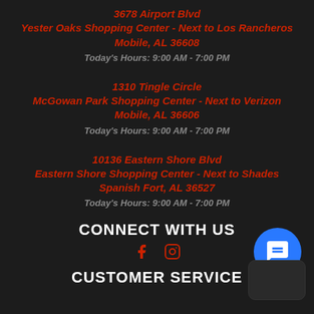3678 Airport Blvd
Yester Oaks Shopping Center - Next to Los Rancheros
Mobile, AL 36608
Today's Hours: 9:00 AM - 7:00 PM
1310 Tingle Circle
McGowan Park Shopping Center - Next to Verizon
Mobile, AL 36606
Today's Hours: 9:00 AM - 7:00 PM
10136 Eastern Shore Blvd
Eastern Shore Shopping Center - Next to Shades
Spanish Fort, AL 36527
Today's Hours: 9:00 AM - 7:00 PM
CONNECT WITH US
[Figure (infographic): Social media icons: Facebook and Instagram in dark red/maroon color]
CUSTOMER SERVICE